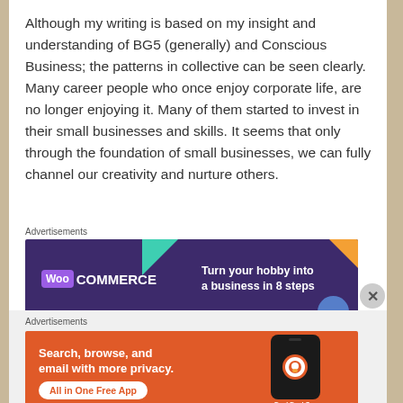Although my writing is based on my insight and understanding of BG5 (generally) and Conscious Business; the patterns in collective can be seen clearly. Many career people who once enjoy corporate life, are no longer enjoying it. Many of them started to invest in their small businesses and skills. It seems that only through the foundation of small businesses, we can fully channel our creativity and nurture others.
Advertisements
[Figure (other): WooCommerce advertisement banner: dark purple background with WooCommerce logo on left and text 'Turn your hobby into a business in 8 steps' on right, with decorative teal, orange, and blue shapes.]
REPORT THIS AD
Advertisements
[Figure (other): DuckDuckGo advertisement banner: orange background with text 'Search, browse, and email with more privacy. All in One Free App' on left, and DuckDuckGo logo with phone image on right.]
REPORT THIS AD